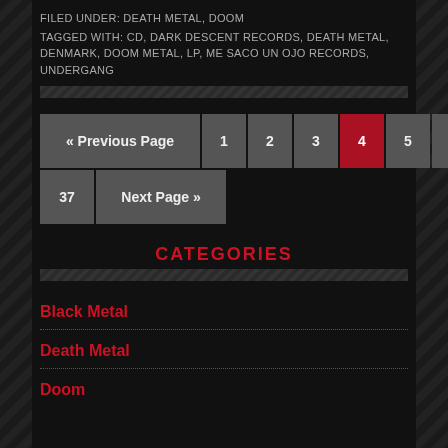FILED UNDER: DEATH METAL, DOOM
TAGGED WITH: CD, DARK DESCENT RECORDS, DEATH METAL, DENMARK, DOOM METAL, LP, ME SACO UN OJO RECORDS, UNDERGANG
« Previous Page  1  2  3  4  5  6  ...  37  Next Page »
CATEGORIES
Black Metal
Death Metal
Doom